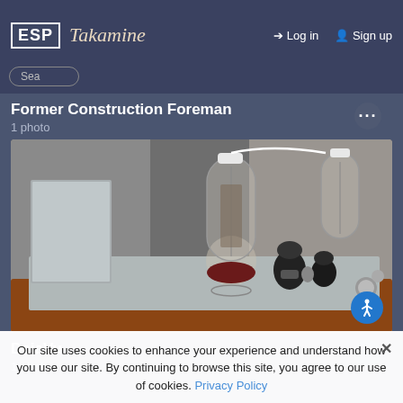ESP | Takamine | Log in | Sign up
Former Construction Foreman
1 photo
[Figure (photo): Photograph of a vacuum tube amplifier on a wooden chassis with multiple glass tubes and black components on a grey metal top plate, against grey acoustic panels in the background.]
DejaVu
1 photo
Our site uses cookies to enhance your experience and understand how you use our site. By continuing to browse this site, you agree to our use of cookies. Privacy Policy